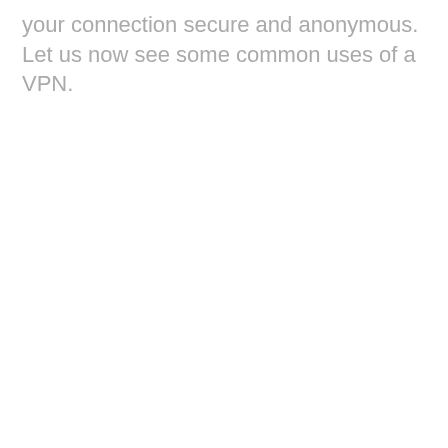your connection secure and anonymous. Let us now see some common uses of a VPN.